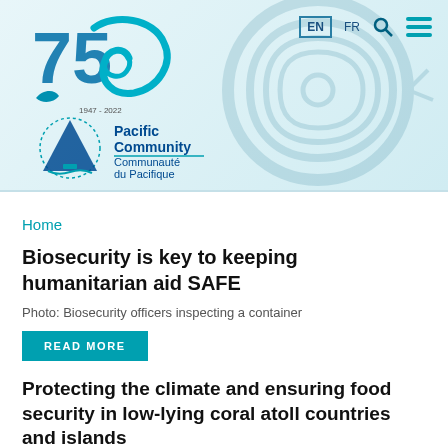[Figure (logo): Pacific Community / Communauté du Pacifique 75th anniversary logo with stylized wave and sailing motifs in teal and blue]
EN  FR  [search] [menu]
Home
Biosecurity is key to keeping humanitarian aid SAFE
Photo: Biosecurity officers inspecting a container
READ MORE
Protecting the climate and ensuring food security in low-lying coral atoll countries and islands